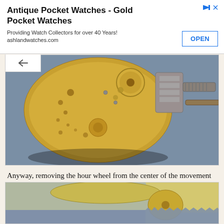[Figure (other): Advertisement banner: Antique Pocket Watches - Gold Pocket Watches. Providing Watch Collectors for over 40 Years! ashlandwatches.com. With an OPEN button.]
[Figure (photo): Close-up photo of a pocket watch movement/mechanism showing the gold-colored movement plate with gears, jewels, and screws, mounted in a watch case holder on a blue-gray fabric surface.]
Anyway, removing the hour wheel from the center of the movement exposes the cannon pinion and the minute wheel just to the right of it. Those come off next, as does the set bridge (with two screws) and the cap jewels on the upper left of the movement.
[Figure (photo): Partial photo of watch parts laid out on a blue-gray cloth surface, showing what appears to be circular watch dial/movement components.]